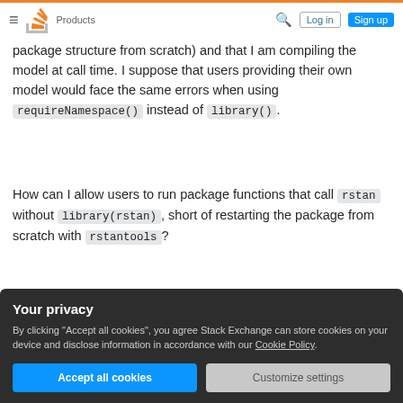Stack Overflow navigation bar with hamburger menu, logo, Products, search, Log in, Sign up
package structure from scratch) and that I am compiling the model at call time. I suppose that users providing their own model would face the same errors when using requireNamespace() instead of library().
How can I allow users to run package functions that call rstan without library(rstan), short of restarting the package from scratch with rstantools?
Your privacy
By clicking "Accept all cookies", you agree Stack Exchange can store cookies on your device and disclose information in accordance with our Cookie Policy.
Accept all cookies
Customize settings